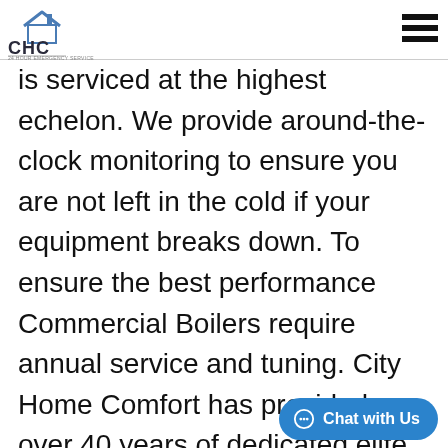[Figure (logo): City Home Comfort (CHC) logo with house icon above letters CHC and text CITY HOME COMFORT 24 HOUR EMERGENCY SERVICE below]
is serviced at the highest echelon. We provide around-the-clock monitoring to ensure you are not left in the cold if your equipment breaks down. To ensure the best performance Commercial Boilers require annual service and tuning. City Home Comfort has provided over 40 years of dedicated elite Commercial Boiler Service in the Greater Toronto Area.